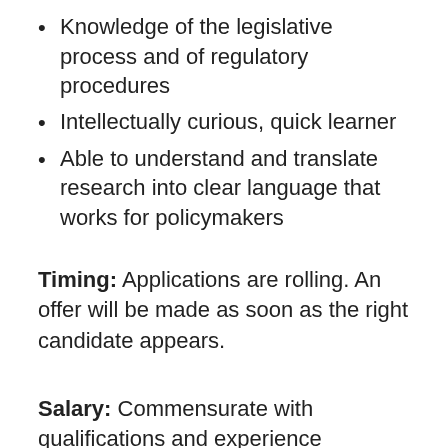Knowledge of the legislative process and of regulatory procedures
Intellectually curious, quick learner
Able to understand and translate research into clear language that works for policymakers
Timing: Applications are rolling. An offer will be made as soon as the right candidate appears.
Salary: Commensurate with qualifications and experience
To Apply: Send cover letter, resume, and brief writing sample to Avi Green, avi@scholars.org